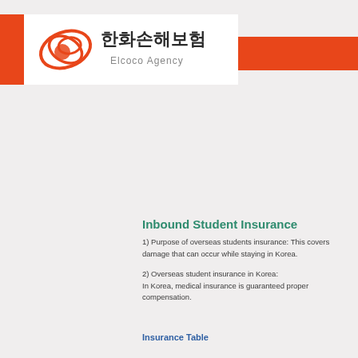[Figure (logo): Hanwha General Insurance logo with Korean text 한화손해보험 and Elcoco Agency text, with orange circular graphic]
Inbound Student Insurance
1) Purpose of overseas students insurance: This covers damage that can occur while staying in Korea.
2) Overseas student insurance in Korea: In Korea, medical insurance is guaranteed proper compensation.
Insurance Table